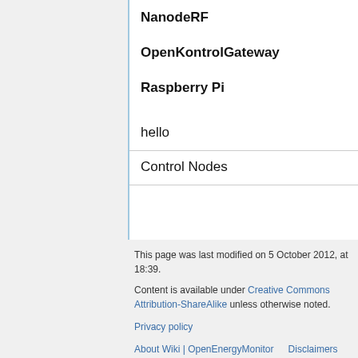NanodeRF
OpenKontrolGateway
Raspberry Pi
hello
Control Nodes
This page was last modified on 5 October 2012, at 18:39.
Content is available under Creative Commons Attribution-ShareAlike unless otherwise noted.
Privacy policy
About Wiki | OpenEnergyMonitor   Disclaimers